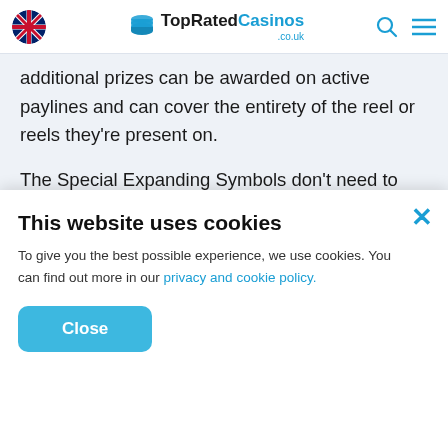TopRatedCasinos.co.uk
additional prizes can be awarded on active paylines and can cover the entirety of the reel or reels they're present on.
The Special Expanding Symbols don't need to land next to each other to result in wins and can cover all five reels if your luck's in, potentially resulting in the 5,000x max win. The Free Spins round can be retriggered as it plays out, meaning you could bag up to 20 free spins at a time.
(faded background text)
This website uses cookies
To give you the best possible experience, we use cookies. You can find out more in our privacy and cookie policy.
Close